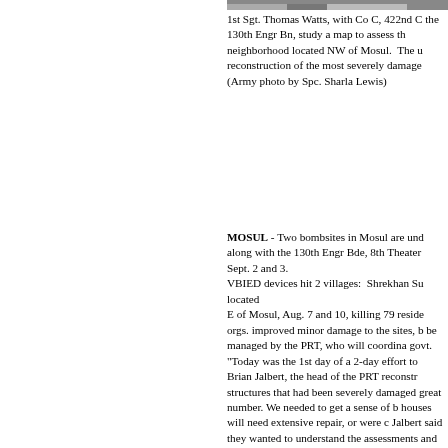[Figure (photo): Partial view of a photo showing military personnel studying a map, cropped at top of page]
1st Sgt. Thomas Watts, with Co C, 422nd C the 130th Engr Bn, study a map to assess th neighborhood located NW of Mosul.  The u reconstruction of the most severely damage (Army photo by Spc. Sharla Lewis)
MOSUL - Two bombsites in Mosul are und along with the 130th Engr Bde, 8th Theater Sept. 2 and 3.
VBIED devices hit 2 villages:  Shrekhan Su located
E of Mosul, Aug. 7 and 10, killing 79 reside orgs. improved minor damage to the sites, b be managed by the PRT, who will coordina govt.
"Today was the 1st day of a 2-day effort to Brian Jalbert, the head of the PRT reconstr structures that had been severely damaged great number. We needed to get a sense of b houses will need extensive repair, or were c Jalbert said they wanted to understand the assessments and evaluating options. The PR approach the reconstruction of these destro enough cash to repair their own homes.  Th threatened.  Another method, repairing all donations of building materials is also risky section. "The other option is to contract ou